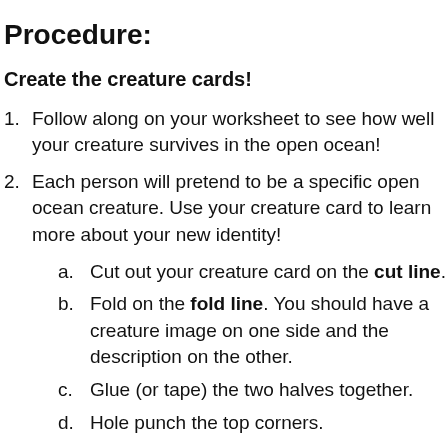Procedure:
Create the creature cards!
Follow along on your worksheet to see how well your creature survives in the open ocean!
Each person will pretend to be a specific open ocean creature. Use your creature card to learn more about your new identity!
Cut out your creature card on the cut line.
Fold on the fold line. You should have a creature image on one side and the description on the other.
Glue (or tape) the two halves together.
Hole punch the top corners.
Cut out a piece of string or yarn about a foot long.